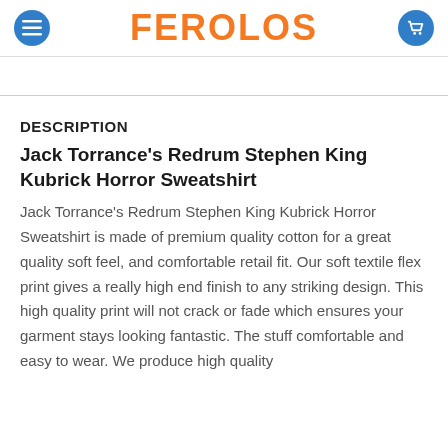FEROLOS
DESCRIPTION
Jack Torrance's Redrum Stephen King Kubrick Horror Sweatshirt
Jack Torrance's Redrum Stephen King Kubrick Horror Sweatshirt is made of premium quality cotton for a great quality soft feel, and comfortable retail fit. Our soft textile flex print gives a really high end finish to any striking design. This high quality print will not crack or fade which ensures your garment stays looking fantastic. The stuff comfortable and easy to wear. We produce high quality